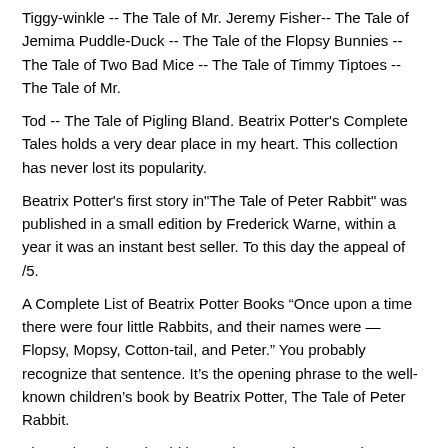Tiggy-winkle -- The Tale of Mr. Jeremy Fisher-- The Tale of Jemima Puddle-Duck -- The Tale of the Flopsy Bunnies -- The Tale of Two Bad Mice -- The Tale of Timmy Tiptoes -- The Tale of Mr.
Tod -- The Tale of Pigling Bland. Beatrix Potter's Complete Tales holds a very dear place in my heart. This collection has never lost its popularity.
Beatrix Potter's first story in"The Tale of Peter Rabbit" was published in a small edition by Frederick Warne, within a year it was an instant best seller. To this day the appeal of /5.
A Complete List of Beatrix Potter Books “Once upon a time there were four little Rabbits, and their names were — Flopsy, Mopsy, Cotton-tail, and Peter.” You probably recognize that sentence. It’s the opening phrase to the well-known children’s book by Beatrix Potter, The Tale of Peter Rabbit.
These donations should be made to: Project Gutenberg Literary Archive Foundation PMB University Ave. Oxford, MS Title: A Collection of Beatrix Potter Stories Author: Beatrix Potter Release Date: July,